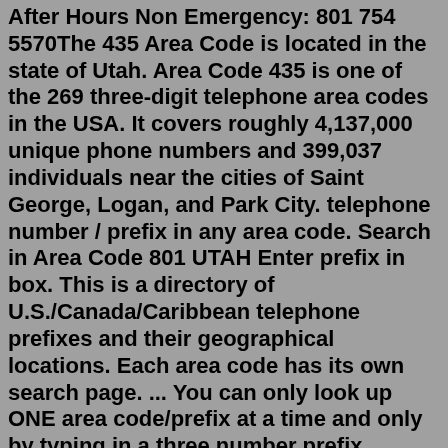After Hours Non Emergency: 801 754 5570The 435 Area Code is located in the state of Utah. Area Code 435 is one of the 269 three-digit telephone area codes in the USA. It covers roughly 4,137,000 unique phone numbers and 399,037 individuals near the cities of Saint George, Logan, and Park City. telephone number / prefix in any area code. Search in Area Code 801 UTAH Enter prefix in box. This is a directory of U.S./Canada/Caribbean telephone prefixes and their geographical locations. Each area code has its own search page. ... You can only look up ONE area code/prefix at a time and only by typing in a three number prefix. Typing in ...UTAH WILDLIFE NEWS. DWR, Ashley National Forest reminds public to stay out of areas during upcoming stream treatments in High Uintas. Daily limit increased to 8 fish at Garden City community pond due to reduced inflow of water. See mountain goats in Utah this summer at DWR viewing event. Visit the Uinta Mountains for a unique hummingbird ... Eagle Mountain, Utah | New Optics/Scopes | Aromney|